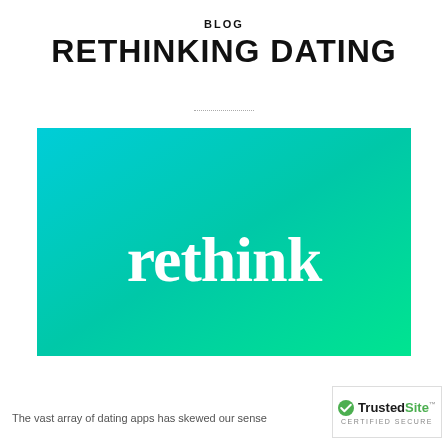BLOG
RETHINKING DATING
[Figure (illustration): Teal-to-green gradient rectangle with the word 'rethink' in large bold white serif font centered on the image.]
The vast array of dating apps has skewed our sense
[Figure (logo): TrustedSite CERTIFIED SECURE badge with green checkmark]